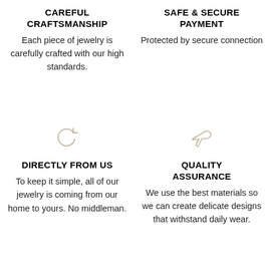CAREFUL CRAFTSMANSHIP
Each piece of jewelry is carefully crafted with our high standards.
SAFE & SECURE PAYMENT
Protected by secure connection
[Figure (illustration): Circular refresh/reload arrow icon]
DIRECTLY FROM US
To keep it simple, all of our jewelry is coming from our home to yours. No middleman.
[Figure (illustration): Airplane icon]
QUALITY ASSURANCE
We use the best materials so we can create delicate designs that withstand daily wear.